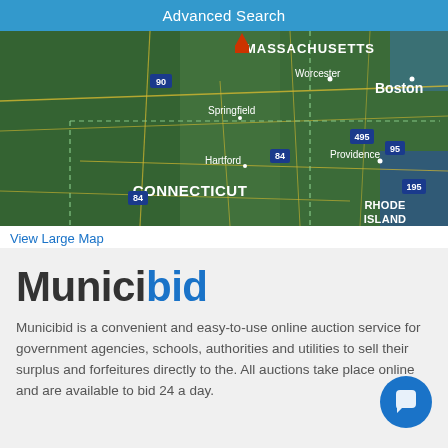Advanced Search
[Figure (map): Satellite/terrain map showing New England region including Massachusetts (with Boston, Worcester, Springfield, route 90, 495, 95), Connecticut (with Hartford, route 84), Rhode Island (with Providence, route 195), with dashed boundary lines.]
View Large Map
Municibid
Municibid is a convenient and easy-to-use online auction service for government agencies, schools, authorities and utilities to sell their surplus and forfeitures directly to the. All auctions take place online and are available to bid 24 a day.